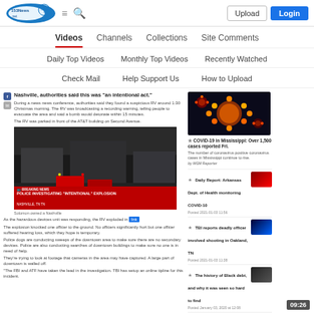[Figure (logo): 153News.net logo - blue oval with globe/network graphic]
Videos | Channels | Collections | Site Comments | Upload | Login
Videos (active)
Channels
Collections
Site Comments
Daily Top Videos
Monthly Top Videos
Recently Watched
Check Mail
Help Support Us
How to Upload
Nashville, authorities said this was "an intentional act."
During a news news conference, authorities said they found a suspicious RV around 1:30 Christmas morning. The RV was broadcasting a recording warning, telling people to evacuate the area and said a bomb would detonate within 15 minutes.
The RV was parked in front of the AT&T building on Second Avenue.
[Figure (screenshot): Video thumbnail showing street scene with emergency vehicles and breaking news overlay reading 'POLICE INVESTIGATING "INTENTIONAL" EXPLOSION']
Solomon owned a Nashville
As the hazardous devices unit was responding, the RV exploded in [link].
The explosion knocked one officer to the ground. No officers significantly hurt but one officer suffered hearing loss, which they hope is temporary.
Police dogs are conducting sweeps of the downtown area to make sure there are no secondary devices. Police are also conducting searches of downtown buildings to make sure no one is in need of help.
They're trying to look at footage that cameras in the area may have captured. A large part of downtown is walled off.
"The FBI and ATF have taken the lead in the investigation. TBI has setup an online tipline for this incident.
[Figure (photo): COVID-19 virus illustration - colorful microscopic rendering of coronavirus]
COVID-19 in Mississippi: Over 1,500 cases reported Fri.
The number of coronavirus positive coronavirus cases in Mississippi continue to rise. by MGM Reporter
Daily Report: Arkansas Dept. of Health monitoring COVID-19
Posted 2021-01-03 11:56
[Figure (photo): Red/dark thumbnail for Arkansas COVID-19 report]
TBI reports deadly officer involved shooting in Oakland, TN
Posted 2021-01-03 11:38
[Figure (photo): Blue/dark thumbnail for officer shooting report]
The history of Black debt, and why it was seen so hard to find
Posted January 03, 2020 at 12:08
[Figure (photo): Dark thumbnail for Black debt history story]
Mid South mayors warn families to avoid large gathering during holidays
Posted January 03, 2020 at 11:48
[Figure (photo): Night scene thumbnail for Mid South mayors story]
09:26